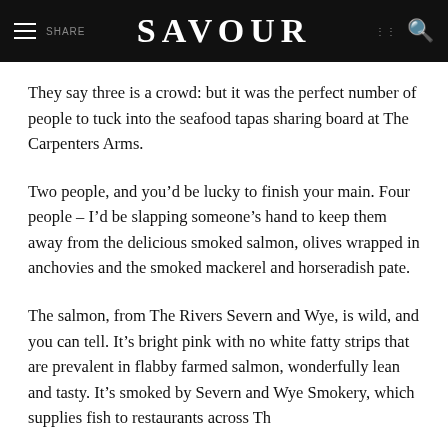SAVOUR
They say three is a crowd: but it was the perfect number of people to tuck into the seafood tapas sharing board at The Carpenters Arms.
Two people, and you’d be lucky to finish your main. Four people – I’d be slapping someone’s hand to keep them away from the delicious smoked salmon, olives wrapped in anchovies and the smoked mackerel and horseradish pate.
The salmon, from The Rivers Severn and Wye, is wild, and you can tell. It’s bright pink with no white fatty strips that are prevalent in flabby farmed salmon, wonderfully lean and tasty. It’s smoked by Severn and Wye Smokery, which supplies fish to restaurants across Th…